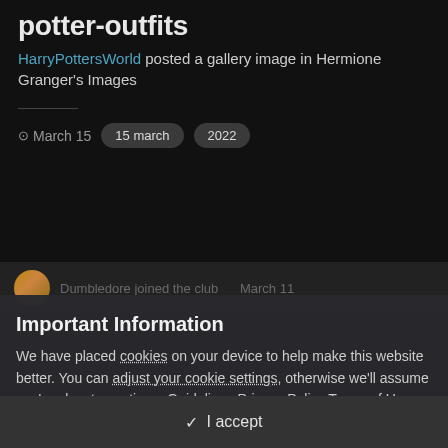potter-outfits
HarryPottersWorld posted a gallery image in Hermione Granger's Images
March 15   15 march   2022
Dumbledore joined the club   March 11
Important Information
We have placed cookies on your device to help make this website better. You can adjust your cookie settings, otherwise we'll assume you're okay to continue. Guidelines Privacy Policy Terms of Use
✓ I accept